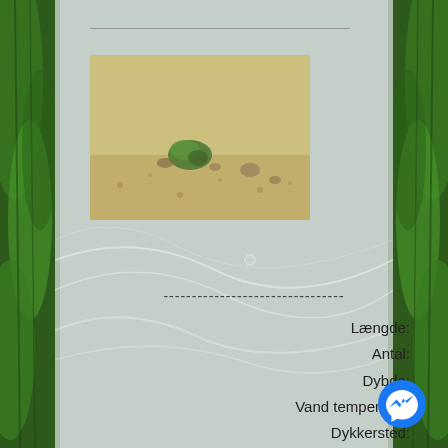[Figure (photo): Small green sea slug or nudibranch on sandy ocean floor]
--------------------------------
Længde:
Antal:
Dybde:
Vand temperatur:
Dykkersted:
Farvand:
Dags- eller natdyk:
[Figure (logo): Facebook Messenger blue circle icon with white lightning bolt]